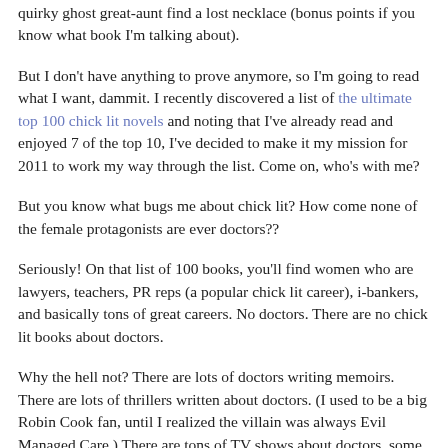quirky ghost great-aunt find a lost necklace (bonus points if you know what book I'm talking about).
But I don't have anything to prove anymore, so I'm going to read what I want, dammit. I recently discovered a list of the ultimate top 100 chick lit novels and noting that I've already read and enjoyed 7 of the top 10, I've decided to make it my mission for 2011 to work my way through the list. Come on, who's with me?
But you know what bugs me about chick lit? How come none of the female protagonists are ever doctors??
Seriously! On that list of 100 books, you'll find women who are lawyers, teachers, PR reps (a popular chick lit career), i-bankers, and basically tons of great careers. No doctors. There are no chick lit books about doctors.
Why the hell not? There are lots of doctors writing memoirs. There are lots of thrillers written about doctors. (I used to be a big Robin Cook fan, until I realized the villain was always Evil Managed Care.) There are tons of TV shows about doctors, some of which involve doctors hooking up a lot (Grey's Anatomy). There are